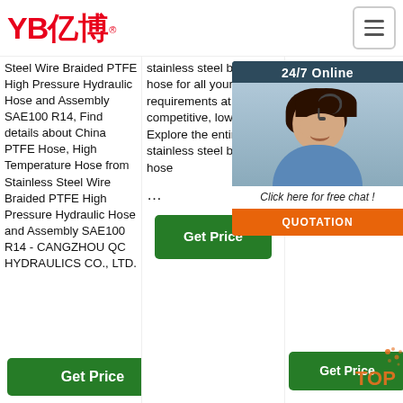YB亿博® [logo + hamburger menu]
Steel Wire Braided PTFE High Pressure Hydraulic Hose and Assembly SAE100 R14, Find details about China PTFE Hose, High Temperature Hose from Stainless Steel Wire Braided PTFE High Pressure Hydraulic Hose and Assembly SAE100 R14 - CANGZHOU QC HYDRAULICS CO., LTD.
stainless steel braided hose for all your varied requirements at competitive, low prices. Explore the entire ptfe stainless steel braided hose …
PTFE Braided Hose ser… We qua… Bra… Ser… rapi… and 1/4' Tem… Pre… Ste… Tefl… Assembly.
[Figure (photo): Customer service representative with headset, smiling. Dark background with '24/7 Online' header, 'Click here for free chat!' text, and orange QUOTATION button.]
Get Price (column 1 button)
Get Price (column 2 button)
Get Price (column 3 button)